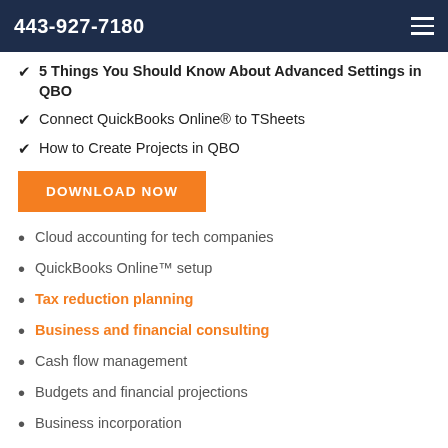443-927-7180
5 Things You Should Know About Advanced Settings in QBO
Connect QuickBooks Online® to TSheets
How to Create Projects in QBO
DOWNLOAD NOW
Cloud accounting for tech companies
QuickBooks Online™ setup
Tax reduction planning
Business and financial consulting
Cash flow management
Budgets and financial projections
Business incorporation
New business advisory